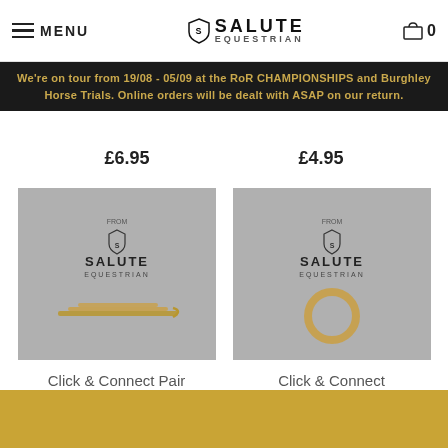MENU | SALUTE EQUESTRIAN | Cart 0
We're on tour from 19/08 - 05/09 at the RoR CHAMPIONSHIPS and Burghley Horse Trials. Online orders will be dealt with ASAP on our return.
£6.95
£4.95
[Figure (photo): Product photo of Click & Connect Pair Brass Clips on grey Salute Equestrian branded background]
[Figure (photo): Product photo of Click & Connect Comfort Ring Brass on grey Salute Equestrian branded background]
Click & Connect Pair Brass Clips
£6.95
Click & Connect Comfort Ring Brass
£4.95